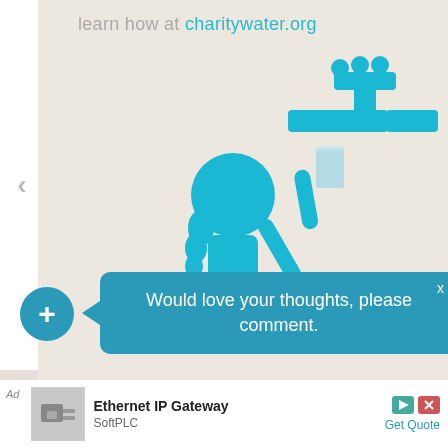learn how at charitywater.org
[Figure (illustration): Charity water infographic: blue illustrated girl holding a glass of water up to a blue water tap/faucet, on a beige background]
Would love your thoughts, please comment.
Ad  Ethernet IP Gateway  SoftPLC  Get Quote